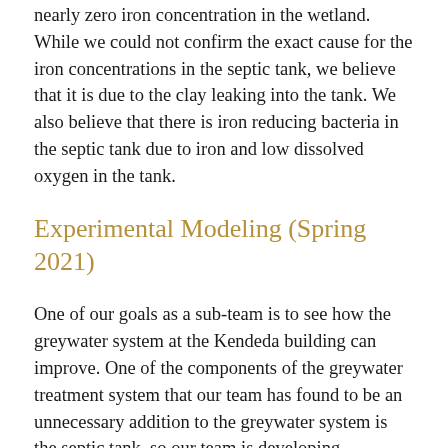nearly zero iron concentration in the wetland. While we could not confirm the exact cause for the iron concentrations in the septic tank, we believe that it is due to the clay leaking into the tank. We also believe that there is iron reducing bacteria in the septic tank due to iron and low dissolved oxygen in the tank.
Experimental Modeling (Spring 2021)
One of our goals as a sub-team is to see how the greywater system at the Kendeda building can improve. One of the components of the greywater treatment system that our team has found to be an unnecessary addition to the greywater system is the septic tank, so our team is developing experimental models in which we can test the effects of the septic tank on greywater treatment. We set up three models that mimic the Kendeda greywater system, and we only make one slight change to each one. One model has the normal septic tank, one has a septic tank filled with gravel, and one does not have a septic tank but rather a tank that constantly stirs the water. The